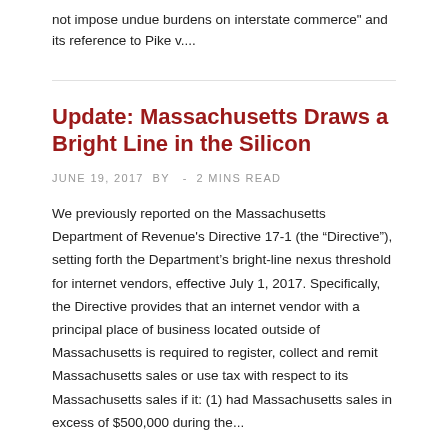not impose undue burdens on interstate commerce" and its reference to Pike v....
Update: Massachusetts Draws a Bright Line in the Silicon
JUNE 19, 2017 By - 2 MINS READ
We previously reported on the Massachusetts Department of Revenue's Directive 17-1 (the “Directive”), setting forth the Department’s bright-line nexus threshold for internet vendors, effective July 1, 2017. Specifically, the Directive provides that an internet vendor with a principal place of business located outside of Massachusetts is required to register, collect and remit Massachusetts sales or use tax with respect to its Massachusetts sales if it: (1) had Massachusetts sales in excess of $500,000 during the...